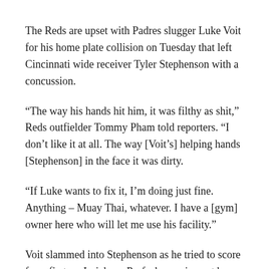The Reds are upset with Padres slugger Luke Voit for his home plate collision on Tuesday that left Cincinnati wide receiver Tyler Stephenson with a concussion.
“The way his hands hit him, it was filthy as shit,” Reds outfielder Tommy Pham told reporters. “I don’t like it at all. The way [Voit’s] helping hands [Stephenson] in the face it was dirty.
“If Luke wants to fix it, I’m doing just fine. Anything – Muay Thai, whatever. I have a [gym] owner here who will let me use his facility.”
Voit slammed into Stephenson as he tried to score from first on Jurickson Profar’s opening-set brace. As he entered his slide,